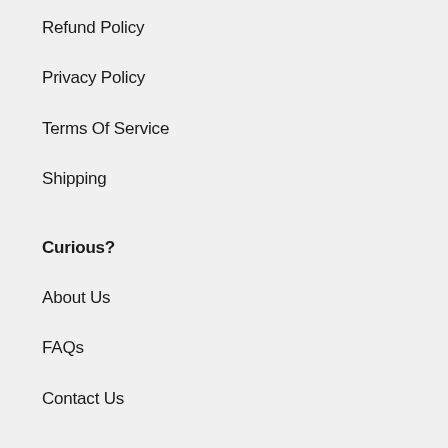Refund Policy
Privacy Policy
Terms Of Service
Shipping
Curious?
About Us
FAQs
Contact Us